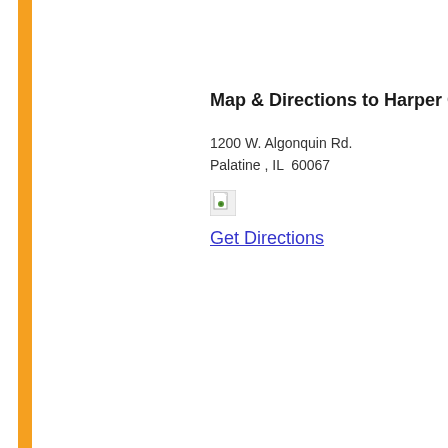Map & Directions to Harper College
1200 W. Algonquin Rd.
Palatine , IL  60067
[Figure (other): Small broken image icon placeholder for a map or directions graphic]
Get Directions